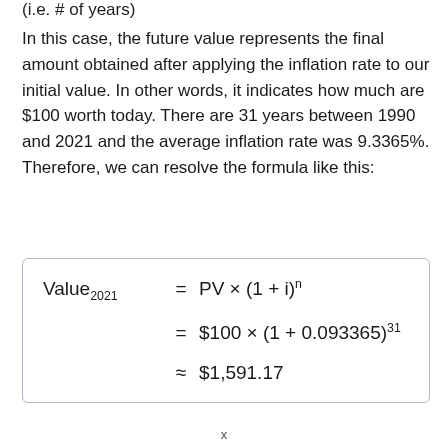(i.e. # of years)
In this case, the future value represents the final amount obtained after applying the inflation rate to our initial value. In other words, it indicates how much are $100 worth today. There are 31 years between 1990 and 2021 and the average inflation rate was 9.3365%. Therefore, we can resolve the formula like this: